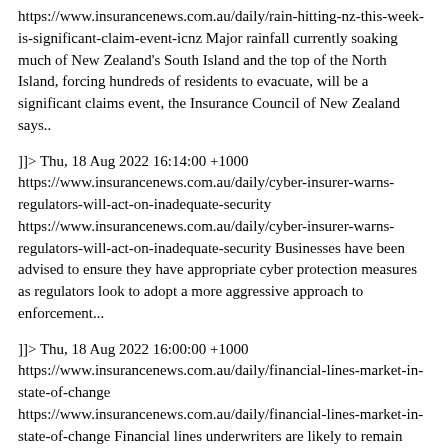https://www.insurancenews.com.au/daily/rain-hitting-nz-this-week-is-significant-claim-event-icnz Major rainfall currently soaking much of New Zealand's South Island and the top of the North Island, forcing hundreds of residents to evacuate, will be a significant claims event, the Insurance Council of New Zealand says..
]]> Thu, 18 Aug 2022 16:14:00 +1000
https://www.insurancenews.com.au/daily/cyber-insurer-warns-regulators-will-act-on-inadequate-security
https://www.insurancenews.com.au/daily/cyber-insurer-warns-regulators-will-act-on-inadequate-security Businesses have been advised to ensure they have appropriate cyber protection measures as regulators look to adopt a more aggressive approach to enforcement...
]]> Thu, 18 Aug 2022 16:00:00 +1000
https://www.insurancenews.com.au/daily/financial-lines-market-in-state-of-change
https://www.insurancenews.com.au/daily/financial-lines-market-in-state-of-change Financial lines underwriters are likely to remain cautious in areas such as directors' and officers' and construction, while cyber breaches are on the rise and the threats are evolving, Australasian Professional Indemnity Group National President Mitchell Spurr says...